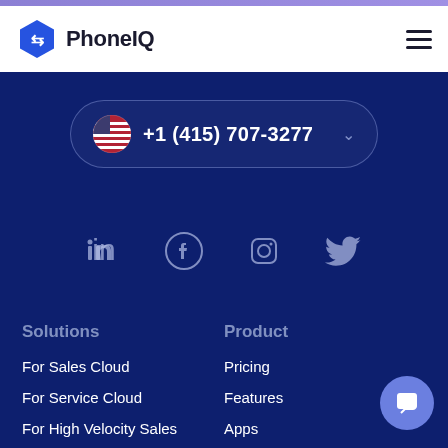PhoneIQ
+1 (415) 707-3277
[Figure (infographic): Social media icons: LinkedIn, Facebook, Instagram, Twitter (outline style)]
Solutions
Product
For Sales Cloud
Pricing
For Service Cloud
Features
For High Velocity Sales
Apps
Cloud Phone System
Voice Network